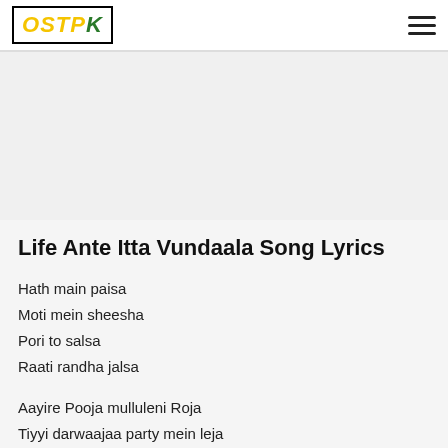OSTPK
[Figure (other): Advertisement/blank area placeholder]
Life Ante Itta Vundaala Song Lyrics
Hath main paisa
Moti mein sheesha
Pori to salsa
Raati randha jalsa
Aayire Pooja mulluleni Roja
Tiyyi darwaajaa party mein leja